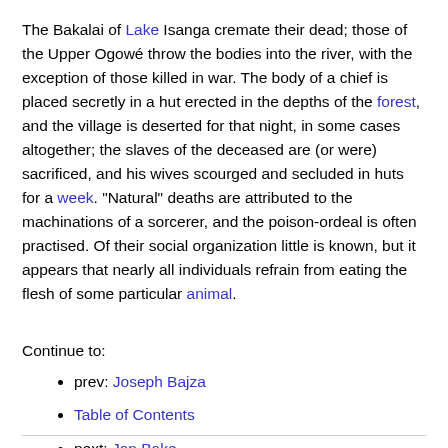The Bakalai of Lake Isanga cremate their dead; those of the Upper Ogowé throw the bodies into the river, with the exception of those killed in war. The body of a chief is placed secretly in a hut erected in the depths of the forest, and the village is deserted for that night, in some cases altogether; the slaves of the deceased are (or were) sacrificed, and his wives scourged and secluded in huts for a week. "Natural" deaths are attributed to the machinations of a sorcerer, and the poison-ordeal is often practised. Of their social organization little is known, but it appears that nearly all individuals refrain from eating the flesh of some particular animal.
Continue to:
prev: Joseph Bajza
Table of Contents
next: Jan Bake